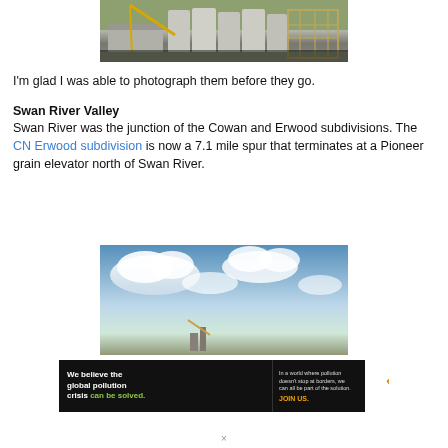[Figure (photo): Photo of grain elevator silos and industrial structures with a small caption bar at bottom]
I'm glad I was able to photograph them before they go.
Swan River Valley
Swan River was the junction of the Cowan and Erwood subdivisions. The CN Erwood subdivision is now a 7.1 mile spur that terminates at a Pioneer grain elevator north of Swan River.
[Figure (photo): Photo of blue sky with white clouds above a flat landscape]
[Figure (other): Advertisement banner: Pure Earth - We believe the global pollution crisis can be solved. In a world where pollution doesn't stop at borders, we can all be part of the solution. JOIN US.]
×